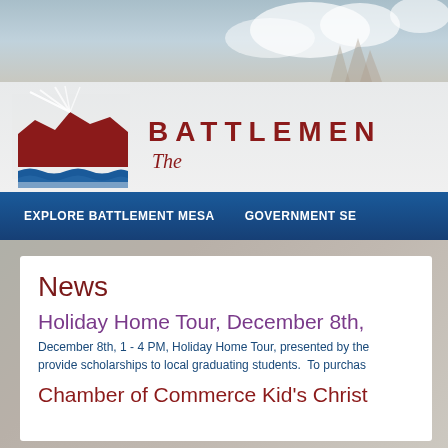[Figure (screenshot): Sky and mountainous background photo at the top of the page]
[Figure (logo): Battlement Mesa logo with stylized red mesa/mountain silhouette over blue water waves]
BATTLEMEN
The
EXPLORE BATTLEMENT MESA    GOVERNMENT SE
News
Holiday Home Tour, December 8th,
December 8th, 1 - 4 PM, Holiday Home Tour, presented by the provide scholarships to local graduating students.  To purchas
Chamber of Commerce Kid's Christ